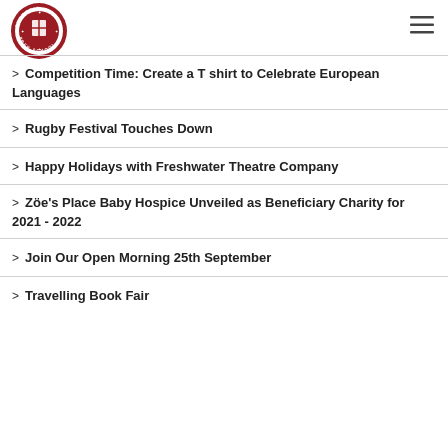Eversfield Prep School
Competition Time: Create a T shirt to Celebrate European Languages
Rugby Festival Touches Down
Happy Holidays with Freshwater Theatre Company
Zöe's Place Baby Hospice Unveiled as Beneficiary Charity for 2021 - 2022
Join Our Open Morning 25th September
Travelling Book Fair